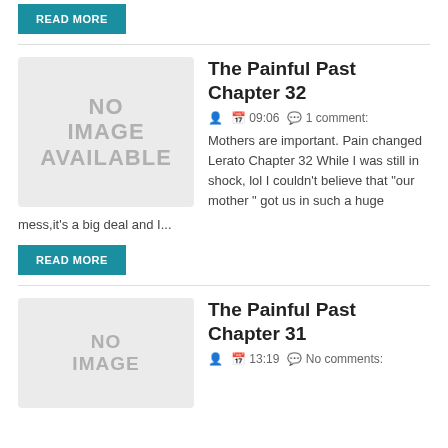READ MORE
The Painful Past Chapter 32
09:06  1 comment:
Mothers are important. Pain changed Lerato Chapter 32 While I was still in shock, lol I couldn't believe that "our mother " got us in such a huge mess,it's a big deal and I...
READ MORE
The Painful Past Chapter 31
13:19  No comments: